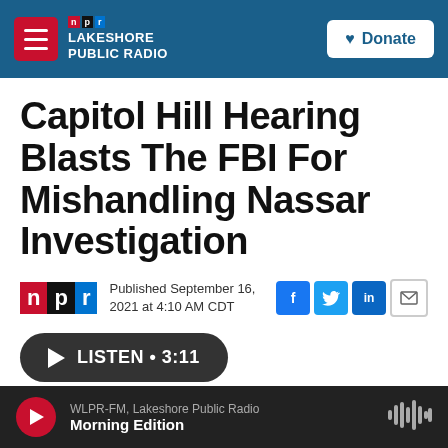NPR Lakeshore Public Radio | Donate
Capitol Hill Hearing Blasts The FBI For Mishandling Nassar Investigation
Published September 16, 2021 at 4:10 AM CDT
[Figure (other): Listen audio player button showing LISTEN • 3:11]
WLPR-FM, Lakeshore Public Radio — Morning Edition